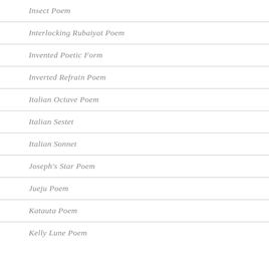Insect Poem
Interlocking Rubaiyat Poem
Invented Poetic Form
Inverted Refrain Poem
Italian Octave Poem
Italian Sestet
Italian Sonnet
Joseph's Star Poem
Jueju Poem
Katauta Poem
Kelly Lune Poem